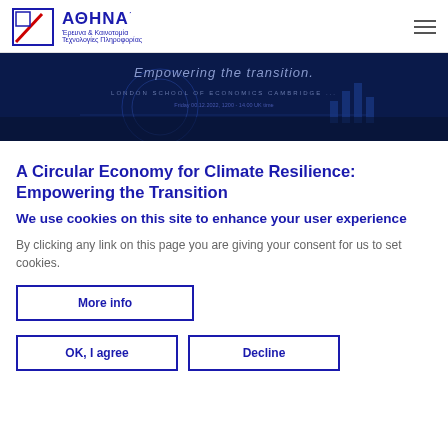ΑΘΗΝΑ - Έρευνα & Καινοτομία Τεχνολογίες Πληροφορίας
[Figure (screenshot): Dark blue banner image with text 'Empowering the Transition.' and 'LONDON SCHOOL OF ECONOMICS CAMBRIDGE' along with date/time information. Decorative tech/data graphics in background.]
A Circular Economy for Climate Resilience: Empowering the Transition
We use cookies on this site to enhance your user experience
By clicking any link on this page you are giving your consent for us to set cookies.
More info
OK, I agree
Decline